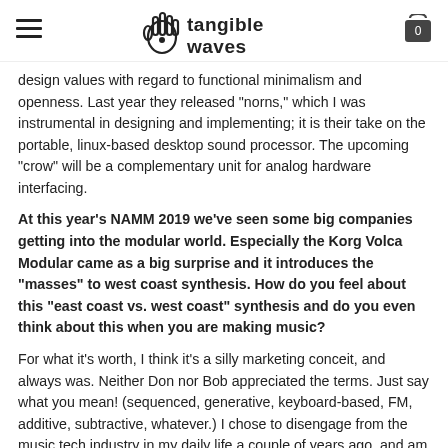Tangible Waves (logo with hamburger menu and cart icon showing 0)
design values with regard to functional minimalism and openness. Last year they released "norns," which I was instrumental in designing and implementing; it is their take on the portable, linux-based desktop sound processor. The upcoming "crow" will be a complementary unit for analog hardware interfacing.
At this year's NAMM 2019 we've seen some big companies getting into the modular world. Especially the Korg Volca Modular came as a big surprise and it introduces the “masses” to west coast synthesis. How do you feel about this “east coast vs. west coast” synthesis and do you even think about this when you are making music?
For what it's worth, I think it's a silly marketing conceit, and always was. Neither Don nor Bob appreciated the terms. Just say what you mean! (sequenced, generative, keyboard-based, FM, additive, subtractive, whatever.) I chose to disengage from the music tech industry in my daily life a couple of years ago, and am